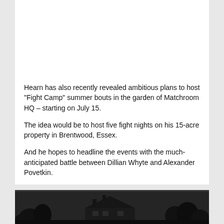Hearn has also recently revealed ambitious plans to host "Fight Camp" summer bouts in the garden of Matchroom HQ – starting on July 15.
The idea would be to host five fight nights on his 15-acre property in Brentwood, Essex.
And he hopes to headline the events with the much-anticipated battle between Dillian Whyte and Alexander Povetkin.
[Figure (photo): Dark nighttime photograph showing a house or building with trees silhouetted against a dark sky]